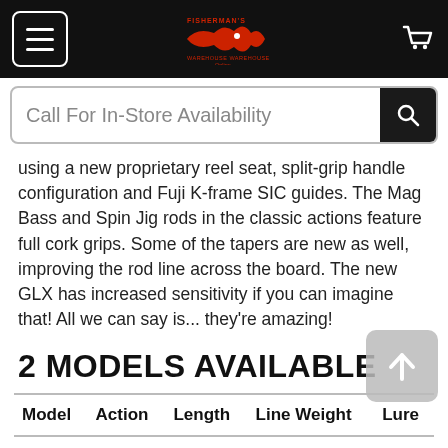Fisherman's Online — navigation bar with hamburger menu, logo, and cart icon
Call For In-Store Availability
using a new proprietary reel seat, split-grip handle configuration and Fuji K-frame SIC guides. The Mag Bass and Spin Jig rods in the classic actions feature full cork grips. Some of the tapers are new as well, improving the rod line across the board. The new GLX has increased sensitivity if you can imagine that! All we can say is... they're amazing!
2 MODELS AVAILABLE
| Model | Action | Length | Line Weight | Lure |
| --- | --- | --- | --- | --- |
|  |  |  |  |  |